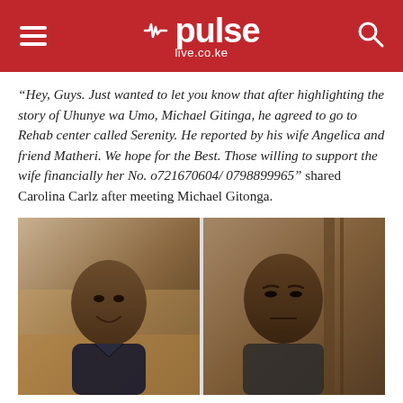pulse live.co.ke
“Hey, Guys. Just wanted to let you know that after highlighting the story of Uhunye wa Umo, Michael Gitinga, he agreed to go to Rehab center called Serenity. He reported by his wife Angelica and friend Matheri. We hope for the Best. Those willing to support the wife financially her No. o721670604/ 0798899965” shared Carolina Carlz after meeting Michael Gitonga.
[Figure (photo): Two side-by-side photos of African men. Left photo shows a younger man smiling outdoors. Right photo shows an older man with a serious expression indoors.]